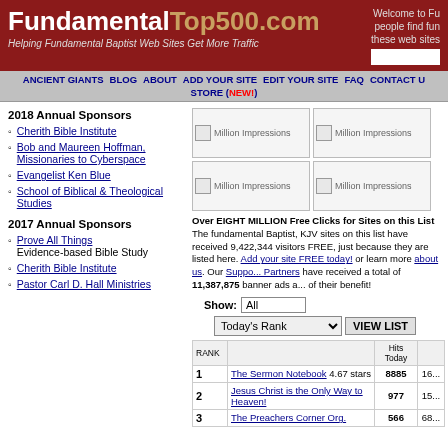FundamentalTop500.com — Helping Fundamental Baptist Web Sites Get More Traffic
Welcome to Fu... people find fun... these web sites...
ANCIENT GIANTS | BLOG | ABOUT | ADD YOUR SITE | EDIT YOUR SITE | FAQ | CONTACT U... | STORE (NEW!)
2018 Annual Sponsors
Cherith Bible Institute
Bob and Maureen Hoffman, Missionaries to Cyberspace
Evangelist Ken Blue
School of Biblical & Theological Studies
2017 Annual Sponsors
Prove All Things — Evidence-based Bible Study
Cherith Bible Institute
Pastor Carl D. Hall Ministries
[Figure (screenshot): Four 'Million Impressions' banner ad placeholders in a 2x2 grid]
Over EIGHT MILLION Free Clicks for Sites on this List. The fundamental Baptist, KJV sites on this list have received 9,422,344 visitors FREE, just because they are listed here. Add your site FREE today! or learn more about us. Our Supporting Partners have received a total of 11,387,875 banner ads and clicks of their benefit!
| RANK |  | Hits Today |  |
| --- | --- | --- | --- |
| 1 | The Sermon Notebook 4.67 stars | 8885 | 16... |
| 2 | Jesus Christ is the Only Way to Heaven! | 977 | 15... |
| 3 | The Preachers Corner Org. | 566 | 68... |